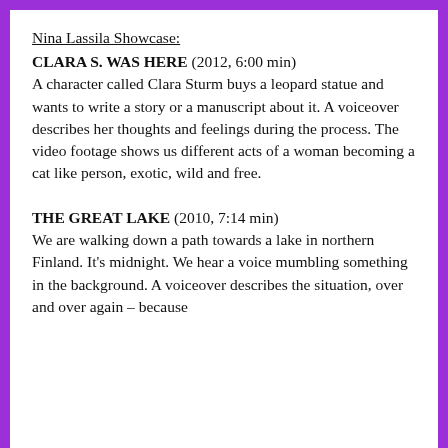Nina Lassila Showcase:
CLARA S. WAS HERE (2012, 6:00 min)
A character called Clara Sturm buys a leopard statue and wants to write a story or a manuscript about it. A voiceover describes her thoughts and feelings during the process. The video footage shows us different acts of a woman becoming a cat like person, exotic, wild and free.
THE GREAT LAKE (2010, 7:14 min)
We are walking down a path towards a lake in northern Finland. It's midnight. We hear a voice mumbling something in the background. A voiceover describes the situation, over and over again – because